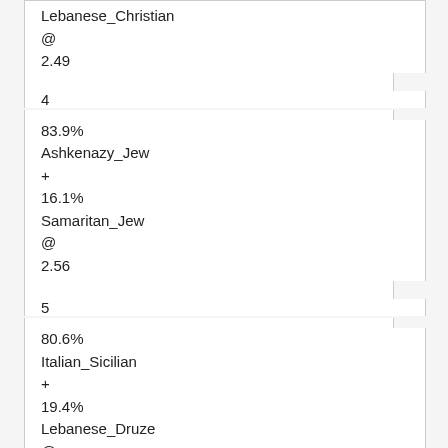Lebanese_Christian
@
2.49
4
83.9% Ashkenazy_Jew + 16.1% Samaritan_Jew @ 2.56
5
80.6% Italian_Sicilian + 19.4% Lebanese_Druze @ 2.58
6
78.7% Ashkenazy_Jew + 21.3% Lebanese_Christian @ 2.6